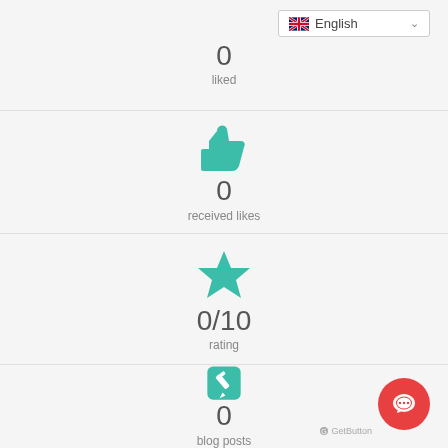0
liked
[Figure (illustration): Teal thumbs-up icon with a vertical bar]
0
received likes
[Figure (illustration): Teal star icon]
0/10
rating
[Figure (illustration): Teal rounded square with pencil/edit icon]
0
blog posts
[Figure (illustration): Red circular chat button (GetButton) in bottom right corner with speech bubble icon and GetButton label]